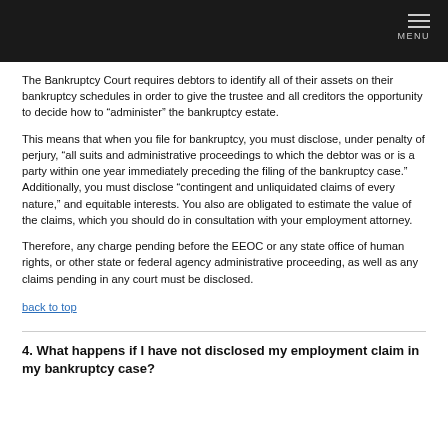MENU
The Bankruptcy Court requires debtors to identify all of their assets on their bankruptcy schedules in order to give the trustee and all creditors the opportunity to decide how to “administer” the bankruptcy estate.
This means that when you file for bankruptcy, you must disclose, under penalty of perjury, “all suits and administrative proceedings to which the debtor was or is a party within one year immediately preceding the filing of the bankruptcy case.”  Additionally, you must disclose “contingent and unliquidated claims of every nature,” and equitable interests.  You also are obligated to estimate the value of the claims, which you should do in consultation with your employment attorney.
Therefore, any charge pending before the EEOC or any state office of human rights, or other state or federal agency administrative proceeding, as well as any claims pending in any court must be disclosed.
back to top
4. What happens if I have not disclosed my employment claim in my bankruptcy case?